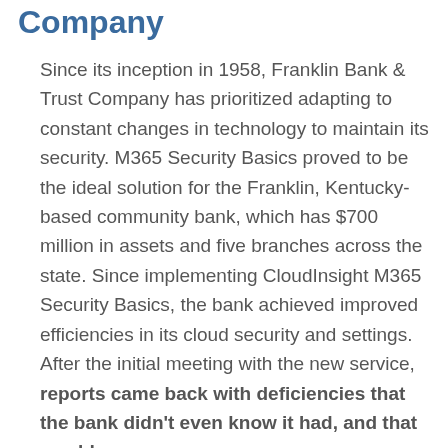Company
Since its inception in 1958, Franklin Bank & Trust Company has prioritized adapting to constant changes in technology to maintain its security. M365 Security Basics proved to be the ideal solution for the Franklin, Kentucky-based community bank, which has $700 million in assets and five branches across the state. Since implementing CloudInsight M365 Security Basics, the bank achieved improved efficiencies in its cloud security and settings. After the initial meeting with the new service, reports came back with deficiencies that the bank didn't even know it had, and that would